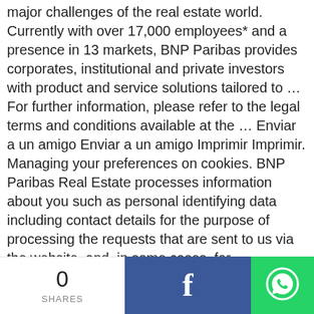major challenges of the real estate world. Currently with over 17,000 employees* and a presence in 13 markets, BNP Paribas provides corporates, institutional and private investors with product and service solutions tailored to … For further information, please refer to the legal terms and conditions available at the … Enviar a un amigo Enviar a un amigo Imprimir Imprimir. Managing your preferences on cookies. BNP Paribas Real Estate processes information about you such as personal identifying data including contact details for the purpose of processing the requests that are sent to us via the website, and, in some cases, for
0 SHARES